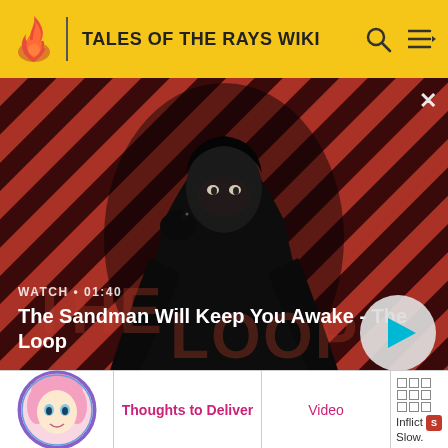TALES OF THE RAYS WIKI
[Figure (screenshot): Video thumbnail banner: A dark-cloaked figure with a raven on shoulder against red and black diagonal stripe background. Shows 'WATCH • 01:40' label and title 'The Sandman Will Keep You Awake - The Loop' with a play button.]
|  | Name | Video | Description |
| --- | --- | --- | --- |
| [image] | Thoughts to Deliver | Video | [boxes] Inflict [icon] Slow. |
|  | Radiant Gathering | Auto MA Condition: | 1. Increase damage by |